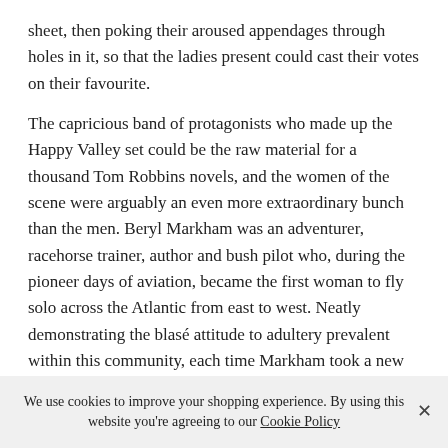sheet, then poking their aroused appendages through holes in it, so that the ladies present could cast their votes on their favourite.
The capricious band of protagonists who made up the Happy Valley set could be the raw material for a thousand Tom Robbins novels, and the women of the scene were arguably an even more extraordinary bunch than the men. Beryl Markham was an adventurer, racehorse trainer, author and bush pilot who, during the pioneer days of aviation, became the first woman to fly solo across the Atlantic from east to west. Neatly demonstrating the blasé attitude to adultery prevalent within this community, each time Markham took a new lover, her husband — the British army officer and farmer Captain Alexander Laidlaw 'Jock' Purves — would hammer a six-inch nail into
We use cookies to improve your shopping experience. By using this website you're agreeing to our Cookie Policy